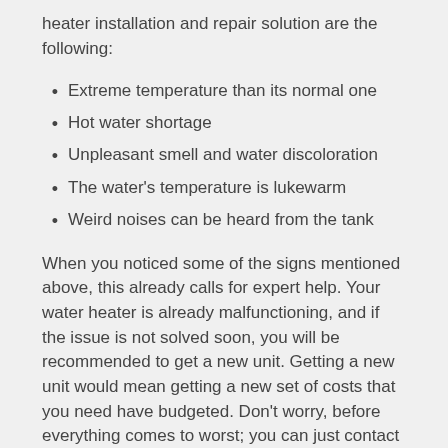heater installation and repair solution are the following:
Extreme temperature than its normal one
Hot water shortage
Unpleasant smell and water discoloration
The water's temperature is lukewarm
Weird noises can be heard from the tank
When you noticed some of the signs mentioned above, this already calls for expert help. Your water heater is already malfunctioning, and if the issue is not solved soon, you will be recommended to get a new unit. Getting a new unit would mean getting a new set of costs that you need have budgeted. Don't worry, before everything comes to worst; you can just contact the best service provider in your country for their